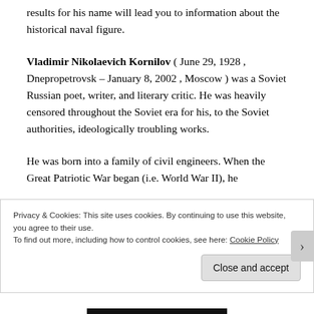results for his name will lead you to information about the historical naval figure.
Vladimir Nikolaevich Kornilov ( June 29, 1928 , Dnepropetrovsk – January 8, 2002 , Moscow ) was a Soviet Russian poet, writer, and literary critic. He was heavily censored throughout the Soviet era for his, to the Soviet authorities, ideologically troubling works.
He was born into a family of civil engineers. When the Great Patriotic War began (i.e. World War II), he
Privacy & Cookies: This site uses cookies. By continuing to use this website, you agree to their use.
To find out more, including how to control cookies, see here: Cookie Policy
Close and accept